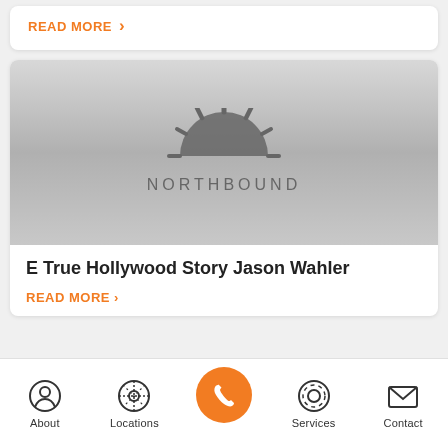READ MORE
[Figure (logo): Northbound rehab logo with starburst icon and text NORTHBOUND on gray gradient background]
E True Hollywood Story Jason Wahler
READ MORE
About  Locations  [Phone]  Services  Contact